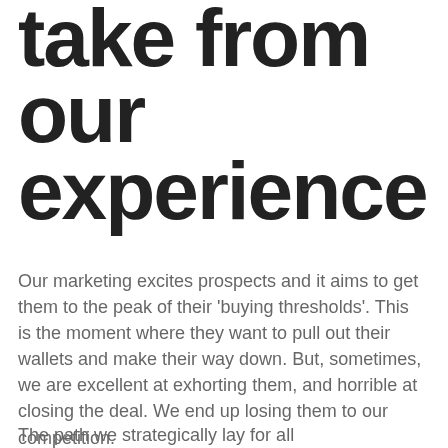take from our experience
Our marketing excites prospects and it aims to get them to the peak of their 'buying thresholds'. This is the moment where they want to pull out their wallets and make their way down. But, sometimes, we are excellent at exhorting them, and horrible at closing the deal. We end up losing them to our competition.
The path we strategically lay for all